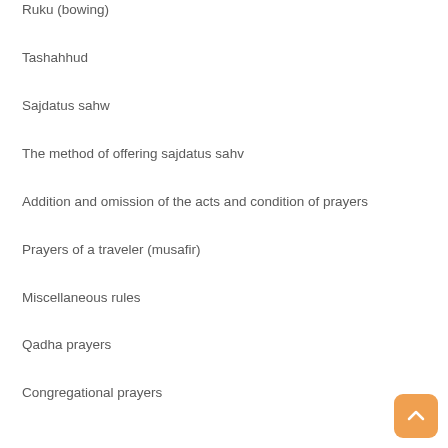Ruku (bowing)
Tashahhud
Sajdatus sahw
The method of offering sajdatus sahv
Addition and omission of the acts and condition of prayers
Prayers of a traveler (musafir)
Miscellaneous rules
Qadha prayers
Congregational prayers
Qualification of an imam of congregational prayer
Rules of congregational prayers